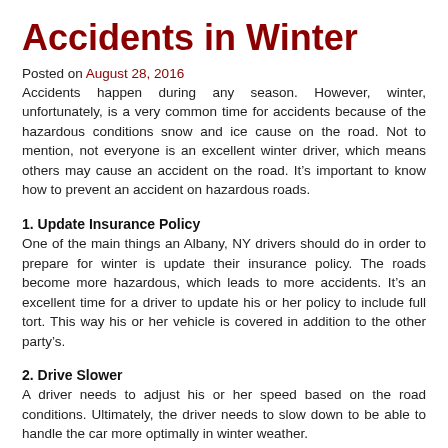Accidents in Winter
Posted on August 28, 2016
Accidents happen during any season. However, winter, unfortunately, is a very common time for accidents because of the hazardous conditions snow and ice cause on the road. Not to mention, not everyone is an excellent winter driver, which means others may cause an accident on the road. It’s important to know how to prevent an accident on hazardous roads.
1. Update Insurance Policy
One of the main things an Albany, NY drivers should do in order to prepare for winter is update their insurance policy. The roads become more hazardous, which leads to more accidents. It’s an excellent time for a driver to update his or her policy to include full tort. This way his or her vehicle is covered in addition to the other party’s.
2. Drive Slower
A driver needs to adjust his or her speed based on the road conditions. Ultimately, the driver needs to slow down to be able to handle the car more optimally in winter weather.